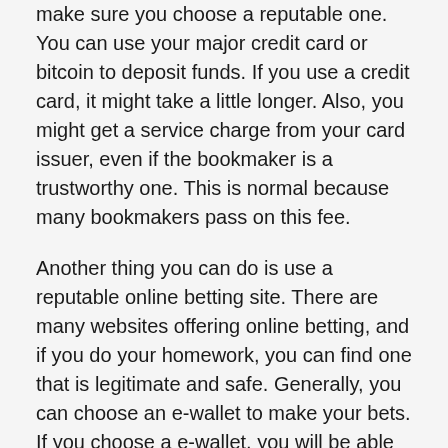make sure you choose a reputable one. You can use your major credit card or bitcoin to deposit funds. If you use a credit card, it might take a little longer. Also, you might get a service charge from your card issuer, even if the bookmaker is a trustworthy one. This is normal because many bookmakers pass on this fee.
Another thing you can do is use a reputable online betting site. There are many websites offering online betting, and if you do your homework, you can find one that is legitimate and safe. Generally, you can choose an e-wallet to make your bets. If you choose a e-wallet, you will be able to deposit money using your credit card. You can also choose to deposit money with Bitcoin. Usually, this option is best if you’re not in a hurry.
Once you’ve found a trusted online betting site, you